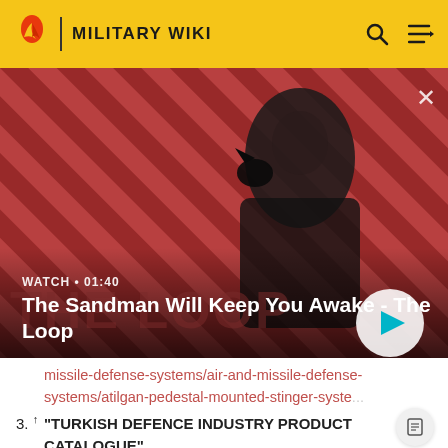MILITARY WIKI
[Figure (screenshot): Video thumbnail for 'The Sandman Will Keep You Awake - The Loop' with a dark-cloaked figure on a red striped background, showing WATCH • 01:40 label and a play button]
missile-defense-systems/air-and-missile-defense-systems/atilgan-pedestal-mounted-stinger-syste
3. ↑ "TURKISH DEFENCE INDUSTRY PRODUCT CATALOGUE". https://www.ssb.gov.tr/urunkatalog/en/56/.
4. ↑ "The Turkish RMARS" https://tanknutdave.com/the-...